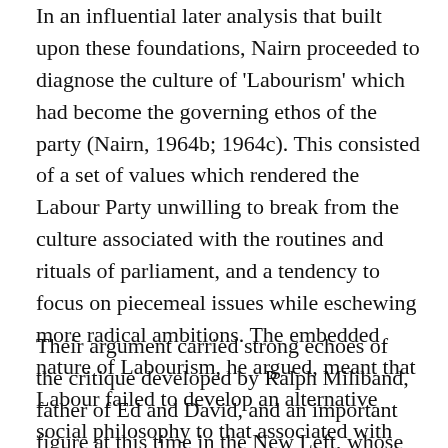In an influential later analysis that built upon these foundations, Nairn proceeded to diagnose the culture of 'Labourism' which had become the governing ethos of the party (Nairn, 1964b; 1964c). This consisted of a set of values which rendered the Labour Party unwilling to break from the culture associated with the routines and rituals of parliament, and a tendency to focus on piecemeal issues while eschewing more radical ambitions. The embedded nature of Labourism, he argued, meant that Labour failed to develop an alternative social philosophy to that associated with the dominant assumptions of the economic and political systems of the day.
Their argument carried strong echoes of the critique developed by Ralph Miliband, father of Ed and David, and an important figure at this time in the New Left, whose own often difficult relationship with Thompson has been fully chronicled (Newman, 2002). It was a